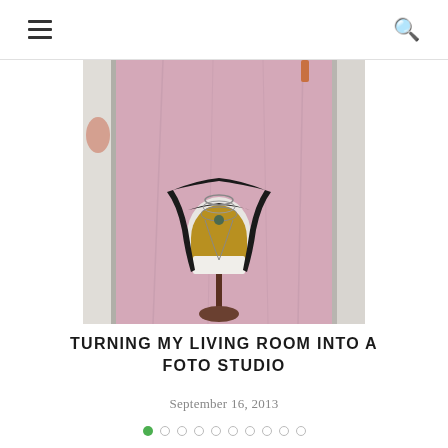Navigation menu and search icons
[Figure (photo): A fashion mannequin/dress form wearing a mustard yellow top, a dark draped cardigan/jacket, and layered necklaces, set against a pink fabric backdrop hung in what appears to be a home living room converted into a photo studio. White walls and doorframe visible on sides.]
TURNING MY LIVING ROOM INTO A FOTO STUDIO
September 16, 2013
● ○ ○ ○ ○ ○ ○ ○ ○ ○